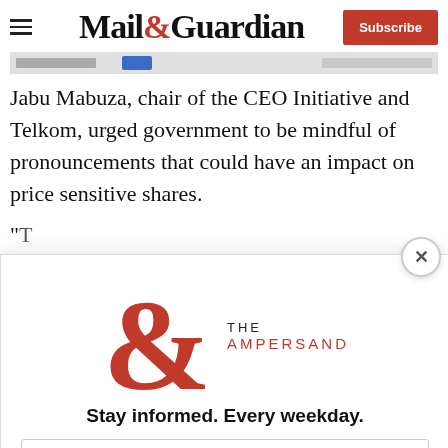Mail&Guardian — Subscribe
[Figure (screenshot): Blurred/partial image strip showing truncated content]
Jabu Mabuza, chair of the CEO Initiative and Telkom, urged government to be mindful of pronouncements that could have an impact on price sensitive shares.
[Figure (other): Modal popup overlay: The Ampersand newsletter signup. Contains large red ampersand logo with 'THE AMPERSAND' text, tagline 'Stay informed. Every weekday.', email address input field, and 'Signup now' red button. Close X button in top right corner.]